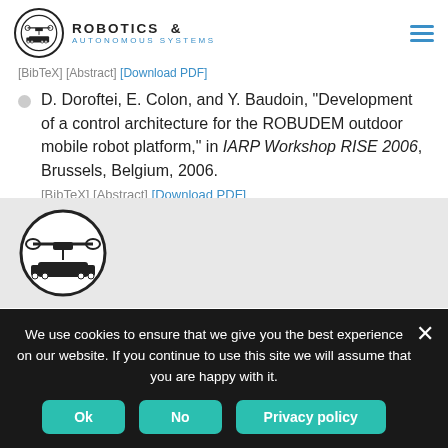ROBOTICS & AUTONOMOUS SYSTEMS
[BibTeX] [Abstract] [Download PDF]
D. Doroftei, E. Colon, and Y. Baudoin, "Development of a control architecture for the ROBUDEM outdoor mobile robot platform," in IARP Workshop RISE 2006, Brussels, Belgium, 2006.
[BibTeX] [Abstract] [Download PDF]
[Figure (logo): Robotics & Autonomous Systems logo circle with drone and robot silhouette]
We use cookies to ensure that we give you the best experience on our website. If you continue to use this site we will assume that you are happy with it.